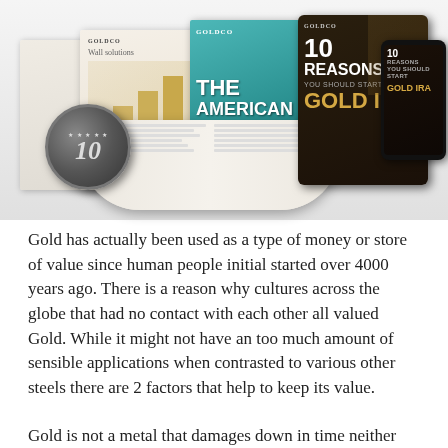[Figure (illustration): Collage of Goldco branded financial publications including open book, teal pamphlet titled 'The American IRA & 401k Crisis', dark tablet showing '10 Reasons You Should Start Gold IRA', a phone displaying similar content, stacked brochures, and a silver anniversary medal with '10' on it.]
Gold has actually been used as a type of money or store of value since human people initial started over 4000 years ago. There is a reason why cultures across the globe that had no contact with each other all valued Gold. While it might not have an too much amount of sensible applications when contrasted to various other steels there are 2 factors that help to keep its value.
Gold is not a metal that damages down in time neither